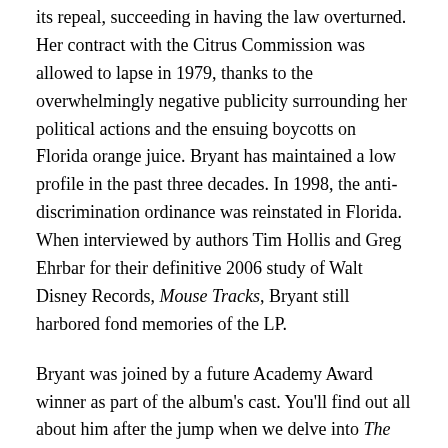its repeal, succeeding in having the law overturned. Her contract with the Citrus Commission was allowed to lapse in 1979, thanks to the overwhelmingly negative publicity surrounding her political actions and the ensuing boycotts on Florida orange juice. Bryant has maintained a low profile in the past three decades. In 1998, the anti-discrimination ordinance was reinstated in Florida. When interviewed by authors Tim Hollis and Greg Ehrbar for their definitive 2006 study of Walt Disney Records, Mouse Tracks, Bryant still harbored fond memories of the LP.
Bryant was joined by a future Academy Award winner as part of the album's cast. You'll find out all about him after the jump when we delve into The Story and Songs of the Orange Bird on Disneyland Records in 1971! Continue reading →